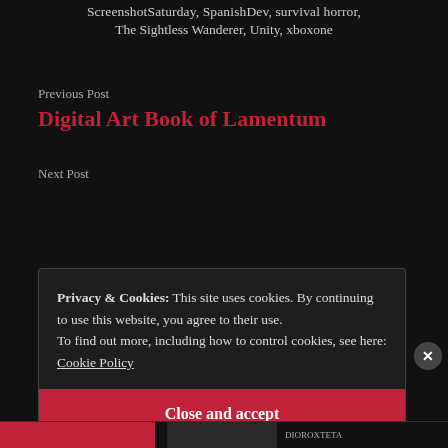ScreenshotSaturday, SpanishDev, survival horror, The Sightless Wanderer, Unity, xboxone
Previous Post
Digital Art Book of Lamentum
Next Post
Privacy & Cookies: This site uses cookies. By continuing to use this website, you agree to their use. To find out more, including how to control cookies, see here: Cookie Policy
Close and accept